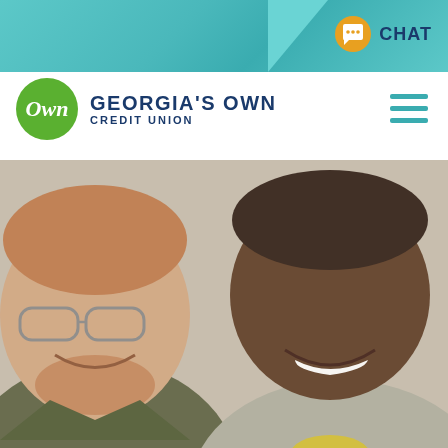CHAT
[Figure (logo): Georgia's Own Credit Union logo — green circle with italic 'Own' text in white, beside bold navy text 'GEORGIA'S OWN CREDIT UNION']
[Figure (photo): Two smiling people looking at something together — a bearded man with glasses on the left and a young person on the right, both looking down and laughing]